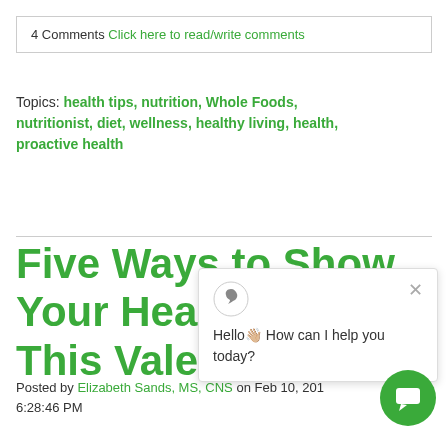4 Comments Click here to read/write comments
Topics: health tips, nutrition, Whole Foods, nutritionist, diet, wellness, healthy living, health, proactive health
Five Ways to Show Your Heart Love This Valentine's Day
Posted by Elizabeth Sands, MS, CNS on Feb 10, 2018 6:28:46 PM